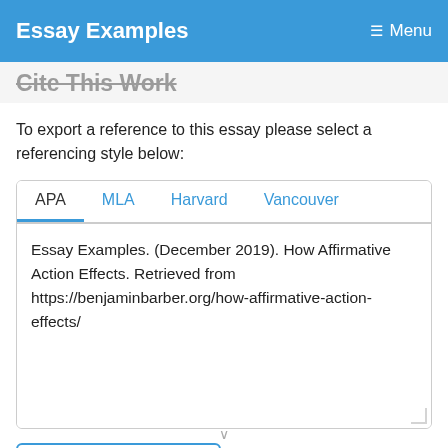Essay Examples   Menu
Cite This Work
To export a reference to this essay please select a referencing style below:
APA  MLA  Harvard  Vancouver
Essay Examples. (December 2019). How Affirmative Action Effects. Retrieved from https://benjaminbarber.org/how-affirmative-action-effects/
Copy to Clipboard